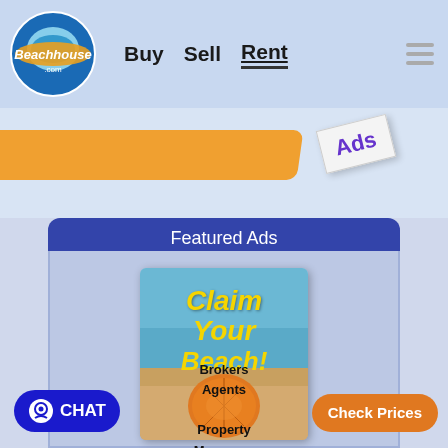Beachhouse.com — Buy  Sell  Rent
[Figure (screenshot): Beachhouse.com website header with logo, navigation links (Buy, Sell, Rent), and hamburger menu icon on a light blue background]
[Figure (illustration): Orange diagonal banner bar and 'Ads' tag rotated at an angle on a light blue background]
Featured Ads
[Figure (illustration): Vertical advertisement banner with beach scene showing text 'Claim Your Beach!' in yellow italic font, a seashell on sand, and text 'Brokers, Agents, Property Managers']
Check Prices
CHAT